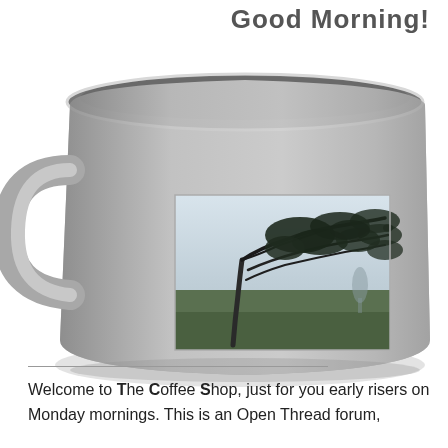Good Morning!
[Figure (illustration): A large gray ceramic coffee mug with a handle on the left side. On the face of the mug is a photo of a windswept tree bending dramatically to the right in a misty green landscape.]
Welcome to The Coffee Shop, just for you early risers on Monday mornings. This is an Open Thread forum,